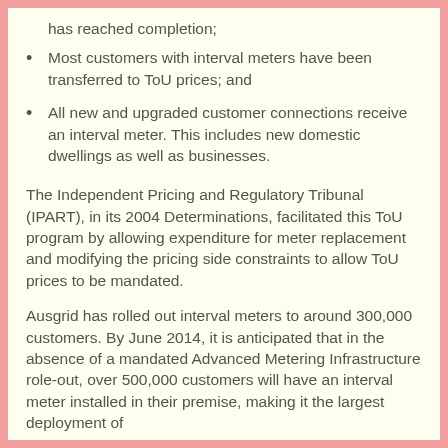has reached completion;
Most customers with interval meters have been transferred to ToU prices; and
All new and upgraded customer connections receive an interval meter. This includes new domestic dwellings as well as businesses.
The Independent Pricing and Regulatory Tribunal (IPART), in its 2004 Determinations, facilitated this ToU program by allowing expenditure for meter replacement and modifying the pricing side constraints to allow ToU prices to be mandated.
Ausgrid has rolled out interval meters to around 300,000 customers. By June 2014, it is anticipated that in the absence of a mandated Advanced Metering Infrastructure role-out, over 500,000 customers will have an interval meter installed in their premise, making it the largest deployment of